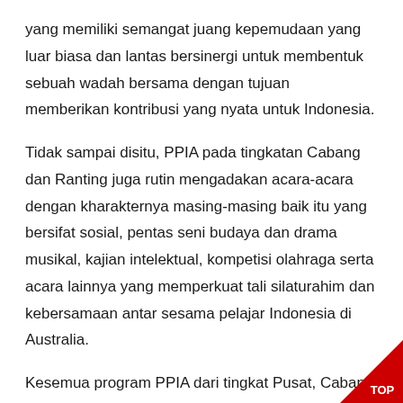yang memiliki semangat juang kepemudaan yang luar biasa dan lantas bersinergi untuk membentuk sebuah wadah bersama dengan tujuan memberikan kontribusi yang nyata untuk Indonesia.
Tidak sampai disitu, PPIA pada tingkatan Cabang dan Ranting juga rutin mengadakan acara-acara dengan kharakternya masing-masing baik itu yang bersifat sosial, pentas seni budaya dan drama musikal, kajian intelektual, kompetisi olahraga serta acara lainnya yang memperkuat tali silaturahim dan kebersamaan antar sesama pelajar Indonesia di Australia.
Kesemua program PPIA dari tingkat Pusat, Cabang hingga Ranting selalu terwujud melalui proses sinergi dengan pihak-pihak terkait baik itu KBRI, KJRI, lembaga government dan non-governme...
[Figure (other): Red triangle 'TOP' scroll-to-top button in bottom-right corner]